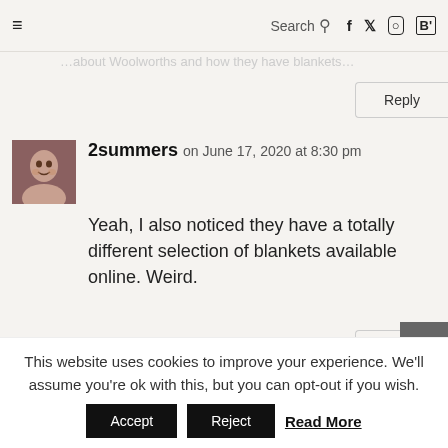≡  Search 🔍  f  Twitter  Instagram  B'
…about Woolworths and how they have blankets.
Reply
2summers on June 17, 2020 at 8:30 pm
Yeah, I also noticed they have a totally different selection of blankets available online. Weird.
Reply
Albert on June 17, 2020 at 8:32 pm
This website uses cookies to improve your experience. We'll assume you're ok with this, but you can opt-out if you wish. Accept Reject Read More